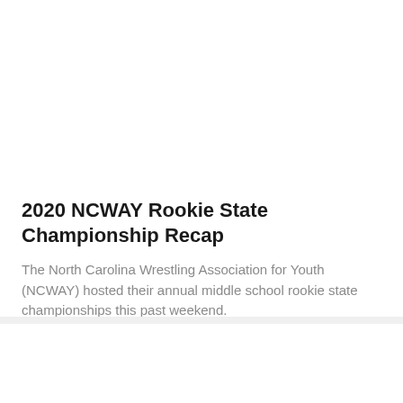2020 NCWAY Rookie State Championship Recap
The North Carolina Wrestling Association for Youth (NCWAY) hosted their annual middle school rookie state championships this past weekend.